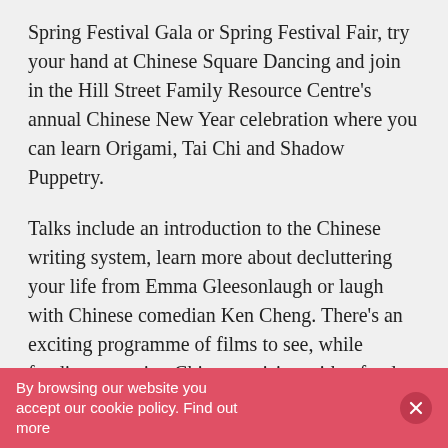Spring Festival Gala or Spring Festival Fair, try your hand at Chinese Square Dancing and join in the Hill Street Family Resource Centre's annual Chinese New Year celebration where you can learn Origami, Tai Chi and Shadow Puppetry.
Talks include an introduction to the Chinese writing system, learn more about decluttering your life from Emma Gleesonlaugh or laugh with Chinese comedian Ken Cheng. There's an exciting programme of films to see, while foodies can enjoy Chinese cuisine with a food extravaganza, tasting sessions and cookery demonstrations. Immerse yourself in the culture by taking an
By browsing our website you accept our cookie policy. Find out more